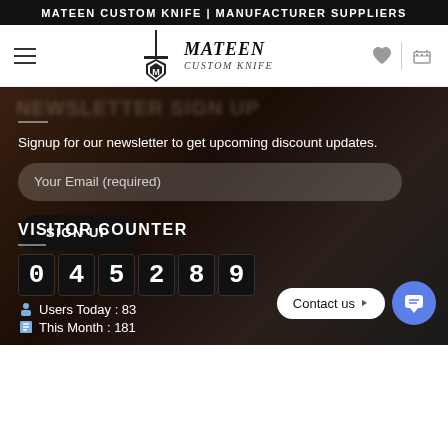MATEEN CUSTOM KNIFE | MANUFACTURER SUPPLIERS
[Figure (logo): Mateen Custom Knife logo with sword/shield emblem and brand name in italic serif font]
Signup for our newsletter to get upcoming discount updates.
Your Email (required)
SIGN UP
VISITOR COUNTER
045289
Users Today : 83
This Month : 181
Contact us